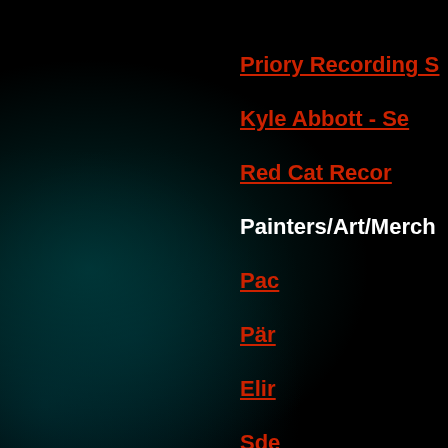Priory Recording S
Kyle Abbott - Se
Red Cat Recor
Painters/Art/Merch
Pac
Pär
Elir
Sde
Matthe